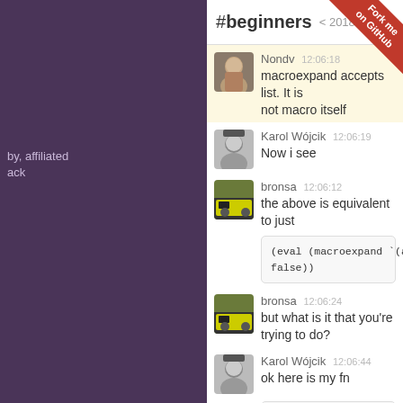#beginners < 2018-... >
Nondv 12:06:18
macroexpand accepts list. It is not macro itself
Karol Wójcik 12:06:19
Now i see
bronsa 12:06:12
the above is equivalent to just
bronsa 12:06:24
but what is it that you're trying to do?
Karol Wójcik 12:06:44
ok here is my fn